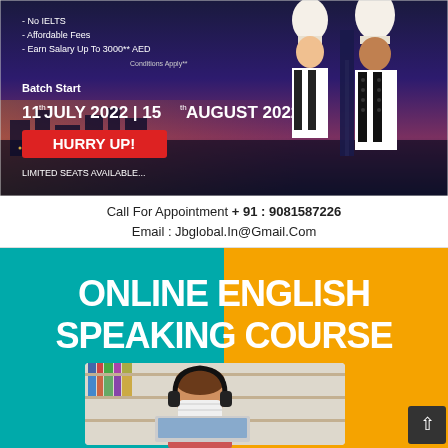[Figure (infographic): Advertisement banner for a culinary/hospitality program in Dubai. Dark city skyline background at dusk. Two chefs in white uniforms and hats standing on right. Left side text lists: No IELTS, Affordable Fees, Earn Salary Up To 3000** AED, Conditions Apply**. Batch Start: 11th JULY 2022 | 15th AUGUST 2022. Red button: HURRY UP! Text at bottom: LIMITED SEATS AVAILABLE...]
Call For Appointment + 91 : 9081587226
Email : Jbglobal.In@Gmail.Com
[Figure (infographic): Advertisement for Online English Speaking Course. Split background: teal/cyan on left, orange on right. Large white bold text: ONLINE ENGLISH SPEAKING COURSE. Below: photo of a child wearing headphones and face mask, sitting at a laptop with bookshelves in background. Dark button with up arrow (^) on far right.]